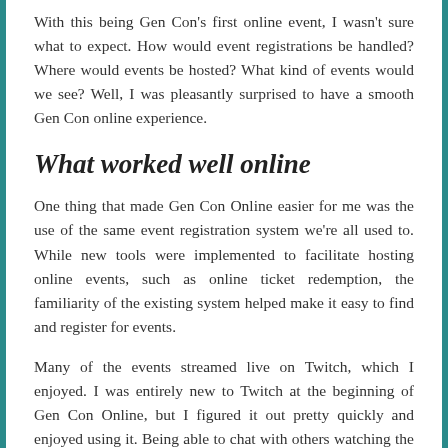With this being Gen Con's first online event, I wasn't sure what to expect. How would event registrations be handled? Where would events be hosted? What kind of events would we see? Well, I was pleasantly surprised to have a smooth Gen Con online experience.
What worked well online
One thing that made Gen Con Online easier for me was the use of the same event registration system we're all used to. While new tools were implemented to facilitate hosting online events, such as online ticket redemption, the familiarity of the existing system helped make it easy to find and register for events.
Many of the events streamed live on Twitch, which I enjoyed. I was entirely new to Twitch at the beginning of Gen Con Online, but I figured it out pretty quickly and enjoyed using it. Being able to chat with others watching the same event without having to go to another app was a plus. Additionally, the chat was a lot easier to use than Zoom's chat feature, which is tricky to work with even for experienced users.